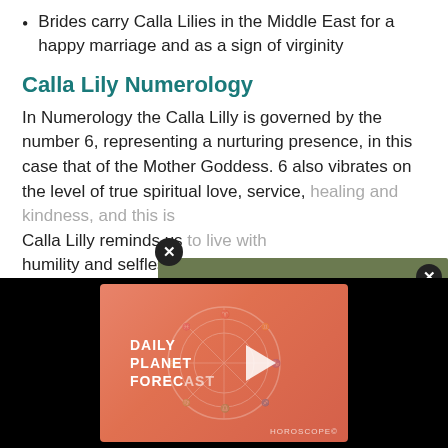Brides carry Calla Lilies in the Middle East for a happy marriage and as a sign of virginity
Calla Lily Numerology
In Numerology the Calla Lilly is governed by the number 6, representing a nurturing presence, in this case that of the Mother Goddess. 6 also vibrates on the level of true spiritual love, service, healing and kindness, and this is... Calla Lilly reminds us ... humility and selflessness...
[Figure (photo): Person wearing an olive green Vietnam Era Veteran 1960-1975 long-sleeve shirt with US Great Seal emblem, torso visible, with a close/X button overlay]
[Figure (screenshot): Video thumbnail showing 'Daily Planet Forecast' with horoscope wheel graphic on a coral/orange gradient background, with a white play button, on a black background bar]